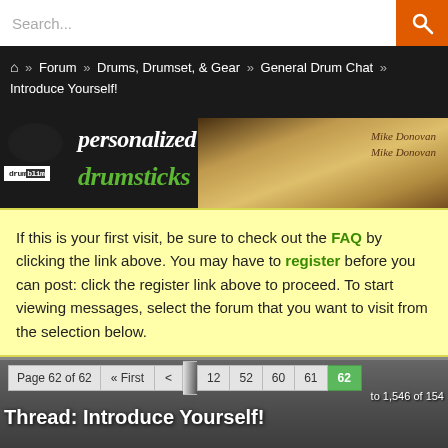Search...
Forum » Drums, Drumset, & Gear » General Drum Chat » Introduce Yourself!
[Figure (photo): Banner advertisement for personalized drumsticks, showing drumsticks with engraved names 'Mike Donovan', drumblim logo on left, white text 'personalized' and green text 'drumsticks']
If this is your first visit, be sure to check out the FAQ by clicking the link above. You may have to register before you can post: click the register link above to proceed. To start viewing messages, select the forum that you want to visit from the selection below.
Page 62 of 62   « First   <   12   52   60   61   62
to 1,546 of 154
Thread: Introduce Yourself!